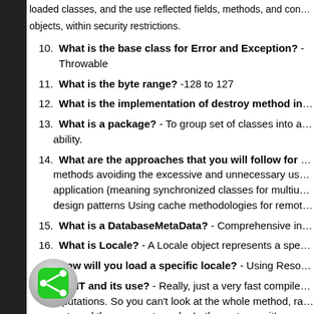loaded classes, and the use reflected fields, methods, and constructors objects, within security restrictions.
10. What is the base class for Error and Exception? - Throwable
11. What is the byte range? -128 to 127
12. What is the implementation of destroy method in java.. is it na
13. What is a package? - To group set of classes into a single unit is k ability.
14. What are the approaches that you will follow for making a prog methods avoiding the excessive and unnecessary use of synchron application (meaning synchronized classes for multiuser and non-s design patterns Using cache methodologies for remote invocations
15. What is a DatabaseMetaData? - Comprehensive information abou
16. What is Locale? - A Locale object represents a specific geographi
17. How will you load a specific locale? - Using ResourceBundle.ge
18. What is JIT and its use? - Really, just a very fast compiler… In thi mputations. So you can't look at the whole method, rank t ...st, and then generate code. In theory terms, it's an on-line probl